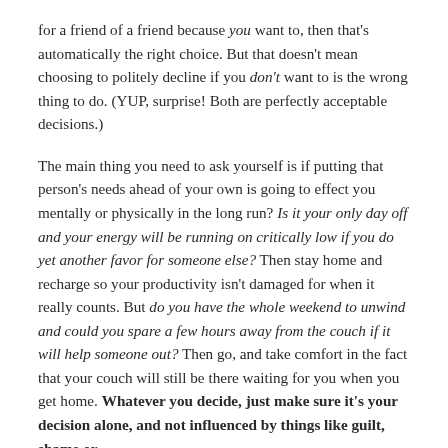for a friend of a friend because you want to, then that's automatically the right choice. But that doesn't mean choosing to politely decline if you don't want to is the wrong thing to do. (YUP, surprise! Both are perfectly acceptable decisions.)
The main thing you need to ask yourself is if putting that person's needs ahead of your own is going to effect you mentally or physically in the long run? Is it your only day off and your energy will be running on critically low if you do yet another favor for someone else? Then stay home and recharge so your productivity isn't damaged for when it really counts. But do you have the whole weekend to unwind and could you spare a few hours away from the couch if it will help someone out? Then go, and take comfort in the fact that your couch will still be there waiting for you when you get home. Whatever you decide, just make sure it's your decision alone, and not influenced by things like guilt, shame or